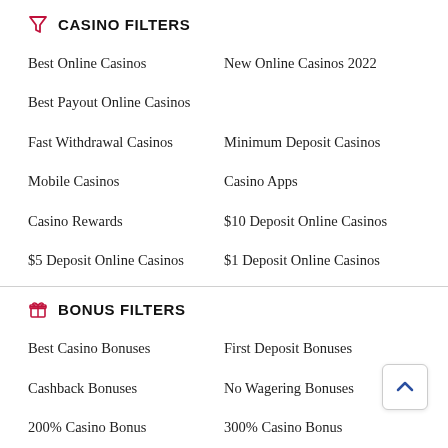CASINO FILTERS
Best Online Casinos
New Online Casinos 2022
Best Payout Online Casinos
Fast Withdrawal Casinos
Minimum Deposit Casinos
Mobile Casinos
Casino Apps
Casino Rewards
$10 Deposit Online Casinos
$5 Deposit Online Casinos
$1 Deposit Online Casinos
BONUS FILTERS
Best Casino Bonuses
First Deposit Bonuses
Cashback Bonuses
No Wagering Bonuses
200% Casino Bonus
300% Casino Bonus